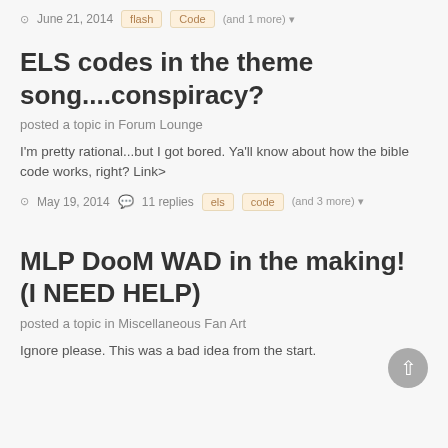June 21, 2014   flash   Code   (and 1 more)
ELS codes in the theme song....conspiracy?
posted a topic in Forum Lounge
I'm pretty rational...but I got bored. Ya'll know about how the bible code works, right? Link>
May 19, 2014   11 replies   els   code   (and 3 more)
MLP DooM WAD in the making! (I NEED HELP)
posted a topic in Miscellaneous Fan Art
Ignore please. This was a bad idea from the start.